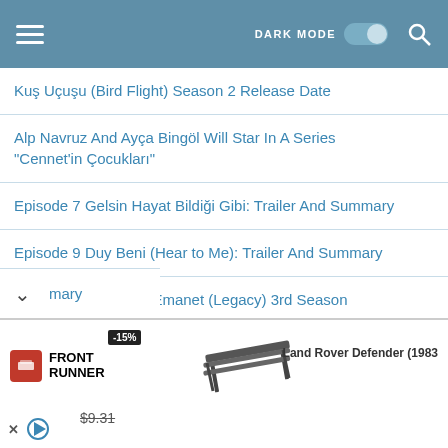DARK MODE [toggle] [search]
Kuş Uçuşu (Bird Flight) Season 2 Release Date
Alp Navruz And Ayça Bingöl Will Star In A Series "Cennet'in Çocukları"
Episode 7 Gelsin Hayat Bildiği Gibi: Trailer And Summary
Episode 9 Duy Beni (Hear to Me): Trailer And Summary
Watch The Trailer of Emanet (Legacy) 3rd Season
Episode 14 Seversin (You Love It): Trailer And Summary
Episode 10 Balkan Ninnisi (Balkan Lullaby): Trailer And Summary
[Figure (screenshot): Advertisement banner for Front Runner with Land Rover Defender (1983) product, showing -15% badge and $9.31 strikethrough price]